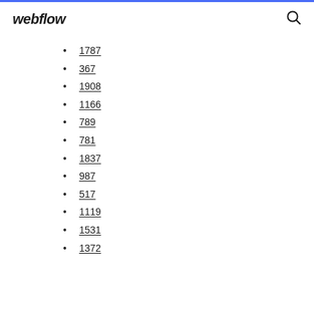webflow
1787
367
1908
1166
789
781
1837
987
517
1119
1531
1372